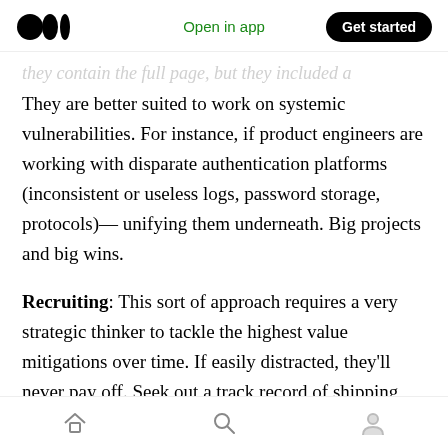Medium logo | Open in app | Get started
...they contain the full page, but they included a
They are better suited to work on systemic vulnerabilities. For instance, if product engineers are working with disparate authentication platforms (inconsistent or useless logs, password storage, protocols)— unifying them underneath. Big projects and big wins.
Recruiting: This sort of approach requires a very strategic thinker to tackle the highest value mitigations over time. If easily distracted, they'll never pay off. Seek out a track record of shipping complex code completed over the long term,
Home | Search | Profile